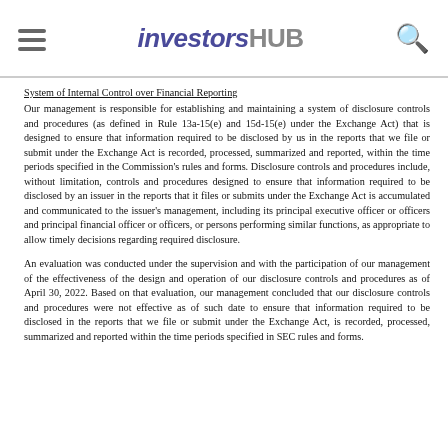investorshub
System of Internal Control over Financial Reporting
Our management is responsible for establishing and maintaining a system of disclosure controls and procedures (as defined in Rule 13a-15(e) and 15d-15(e) under the Exchange Act) that is designed to ensure that information required to be disclosed by us in the reports that we file or submit under the Exchange Act is recorded, processed, summarized and reported, within the time periods specified in the Commission's rules and forms. Disclosure controls and procedures include, without limitation, controls and procedures designed to ensure that information required to be disclosed by an issuer in the reports that it files or submits under the Exchange Act is accumulated and communicated to the issuer's management, including its principal executive officer or officers and principal financial officer or officers, or persons performing similar functions, as appropriate to allow timely decisions regarding required disclosure.
An evaluation was conducted under the supervision and with the participation of our management of the effectiveness of the design and operation of our disclosure controls and procedures as of April 30, 2022. Based on that evaluation, our management concluded that our disclosure controls and procedures were not effective as of such date to ensure that information required to be disclosed in the reports that we file or submit under the Exchange Act, is recorded, processed, summarized and reported within the time periods specified in SEC rules and forms.